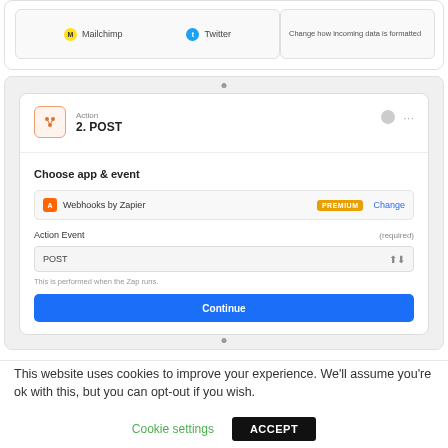[Figure (screenshot): Top portion of a Zapier workflow card showing Mailchimp and Twitter service icons]
[Figure (screenshot): Zapier action configuration card showing 'Action: 2. POST' with Webhooks by Zapier (PREMIUM), Action Event set to POST, and a Continue button]
This website uses cookies to improve your experience. We'll assume you're ok with this, but you can opt-out if you wish.
Cookie settings
ACCEPT